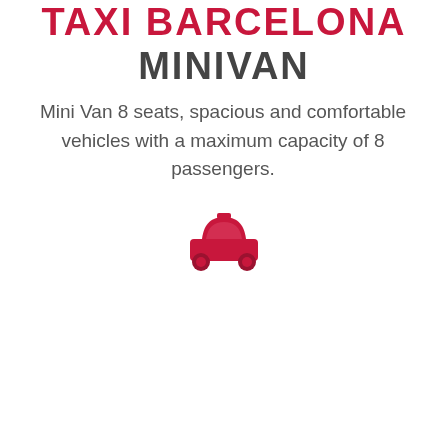TAXI BARCELONA MINIVAN
Mini Van 8 seats, spacious and comfortable vehicles with a maximum capacity of 8 passengers.
[Figure (illustration): Red taxi car icon (silhouette of a car viewed from above/front, in crimson/red color)]